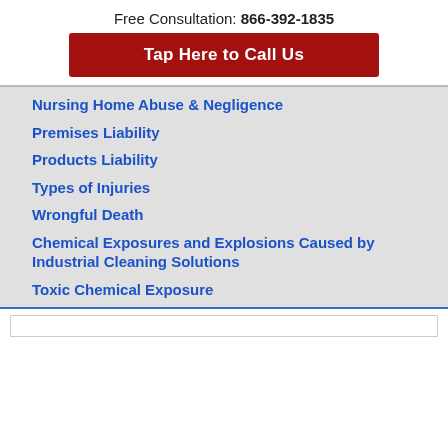Free Consultation: 866-392-1835
[Figure (other): Red button with white text: Tap Here to Call Us]
Nursing Home Abuse & Negligence
Premises Liability
Products Liability
Types of Injuries
Wrongful Death
Chemical Exposures and Explosions Caused by Industrial Cleaning Solutions
Toxic Chemical Exposure